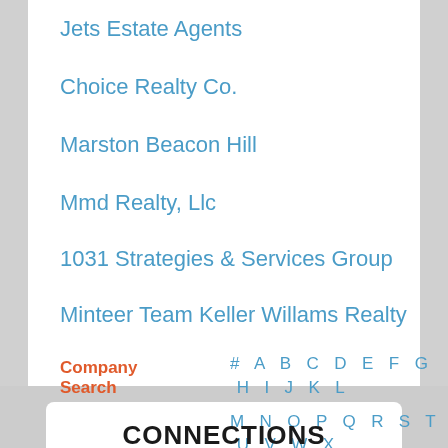Jets Estate Agents
Choice Realty Co.
Marston Beacon Hill
Mmd Realty, Llc
1031 Strategies & Services Group
Minteer Team Keller Willams Realty
Company Search
# A B C D E F G H I J K L M N O P Q R S T U V W X Y Z
CONNECTIONS